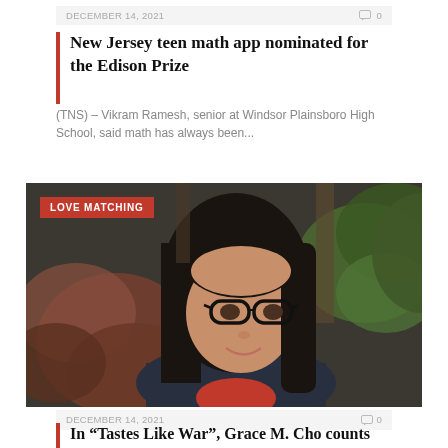DECEMBER 14, 2021   0
New Jersey teen math app nominated for the Edison Prize
(TNS) – Vikram Ramesh, senior at Windsor Plainsboro High School, said math has always been...
[Figure (photo): Photo of a smiling Asian woman with long dark hair and black-rimmed glasses, outdoors with foliage in background. Red badge 'LOVE MATCHING' in top-left corner.]
DECEMBER 14, 2021   0
In "Tastes Like War", Grace M. Cho counts with her mother's schizophrenia: NPR